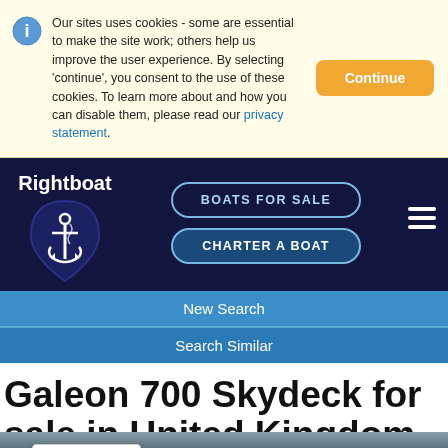Our sites uses cookies - some are essential to make the site work; others help us improve the user experience. By selecting 'continue', you consent to the use of these cookies. To learn more about and how you can disable them, please read our privacy statement.
[Figure (logo): Rightboat logo with anchor in navy shield]
BOATS FOR SALE
CHARTER A BOAT
New Search
Search Similar
Galeon 700 Skydeck for sale in United Kingdom for P.O.A.
[Figure (screenshot): reCAPTCHA widget with logo and Privacy - Terms text]
[Figure (photo): Partial boat/water photo at bottom of page]